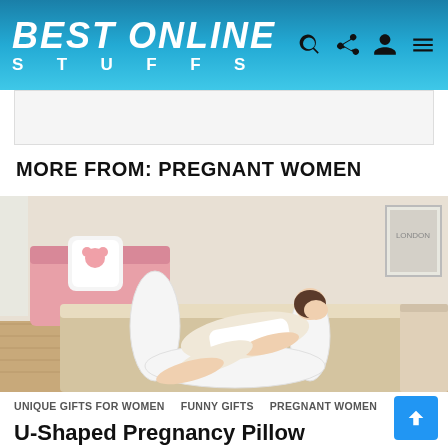BEST ONLINE STUFFS
[Figure (photo): Blank white advertisement banner placeholder]
MORE FROM: PREGNANT WOMEN
[Figure (photo): A woman lying on a bed using a large white U-shaped pregnancy pillow in a bedroom setting with pink sofa and wooden floor]
UNIQUE GIFTS FOR WOMEN  FUNNY GIFTS  PREGNANT WOMEN
U-Shaped Pregnancy Pillow